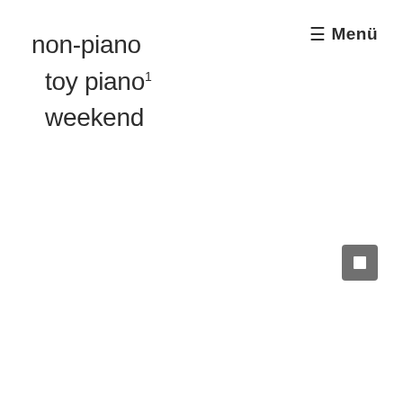non-piano
toy piano¹
weekend
☰ Menü
[Figure (other): Small dark grey square button with a white square/stop icon in the center, positioned in the lower right area of the page.]